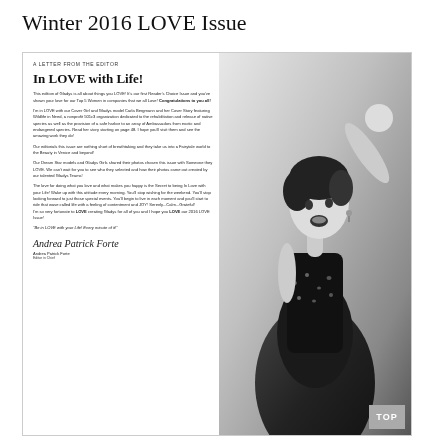Winter 2016 LOVE Issue
[Figure (photo): Black and white magazine page spread featuring a woman in a black sequined dress posing dramatically with her arm raised, alongside an editor's letter titled 'In LOVE with Life!' from Andrea Patrick Forte, Editor in Chief.]
A LETTER FROM THE EDITOR
In LOVE with Life!
This edition of Gladys is all about things you LOVE! It's our first Reader's Choice Issue and you've shown your love for our Top 5 Women in companies that we all Love! Congratulations to you all!
I'm in LOVE with our Cover Girl and Gladys model Carla Bergmann and her Cover Story featuring Wildlife in Need, a nonprofit 501c3 organization dedicated to the rehabilitation and release of native species as well as the provision of a safe harbor to an array of Ambassadors from exotic and endangered species. Read her story starting on page 48. I hope you'll visit them and see the amazing work they do!
Our editorials this issue are nothing short of breathtaking and they take us into a Fairytale world to the Beauty in Venice and beyond!
Our Dream Star models and Gladys Girls shared their photos chosen this issue with Someone they LOVE. We can't wait for you to see who they selected and how their photos came out created by our talented Gladys Teams!
The love for doing what you love and what makes you happy is the Secret to being In Love with your Life! Wake up with this attitude every morning. You'll stop wishing for the weekend. You'll stop looking forward to just those special events. You'll begin to live in each moment and you'll start to ride that wave called life with a feeling of contentment and JOY! Serenly...Calm...Grateful! I'm so very fortunate to LOVE creating Gladys for all of you and I hope you LOVE our 2016 LOVE Issue!
"Be in LOVE with your Life! Every minute of it!"
Andrea Patrick Forte
Editor in Chief